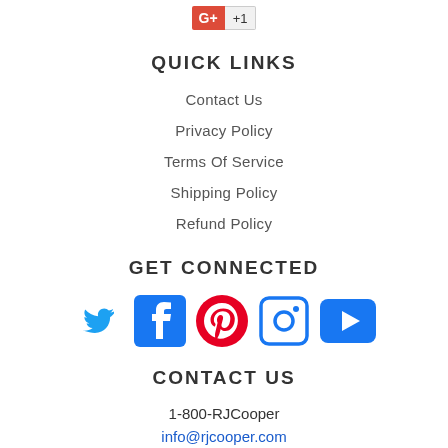[Figure (logo): Google +1 button with red Google+ icon and count badge showing +1]
QUICK LINKS
Contact Us
Privacy Policy
Terms Of Service
Shipping Policy
Refund Policy
GET CONNECTED
[Figure (illustration): Row of 5 social media icons: Twitter, Facebook, Pinterest, Instagram, YouTube]
CONTACT US
1-800-RJCooper
info@rjcooper.com